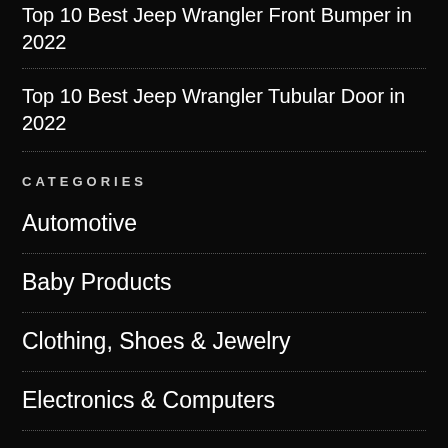Top 10 Best Jeep Wrangler Front Bumper in 2022
Top 10 Best Jeep Wrangler Tubular Door in 2022
CATEGORIES
Automotive
Baby Products
Clothing, Shoes & Jewelry
Electronics & Computers
Garden & Tools